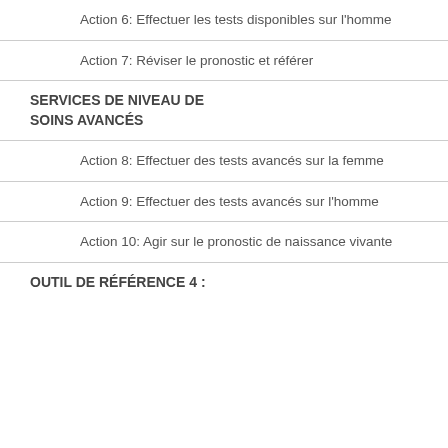Action 6: Effectuer les tests disponibles sur l'homme
Action 7: Réviser le pronostic et référer
SERVICES DE NIVEAU DE SOINS AVANCÉS
Action 8: Effectuer des tests avancés sur la femme
Action 9: Effectuer des tests avancés sur l'homme
Action 10: Agir sur le pronostic de naissance vivante
OUTIL DE RÉFÉRENCE 4 :